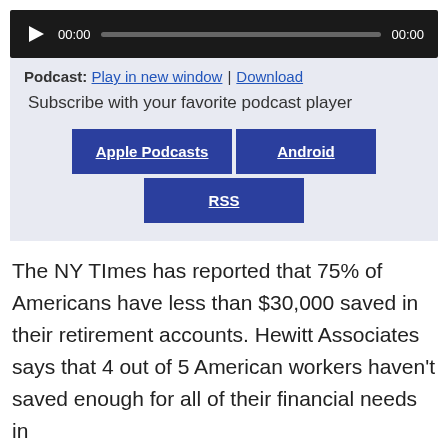[Figure (other): Audio player widget with dark background, play button, time displays showing 00:00, and a progress bar.]
Podcast: Play in new window | Download
Subscribe with your favorite podcast player
Apple Podcasts
Android
RSS
The NY TImes has reported that 75% of Americans have less than $30,000 saved in their retirement accounts. Hewitt Associates says that 4 out of 5 American workers haven't saved enough for all of their financial needs in